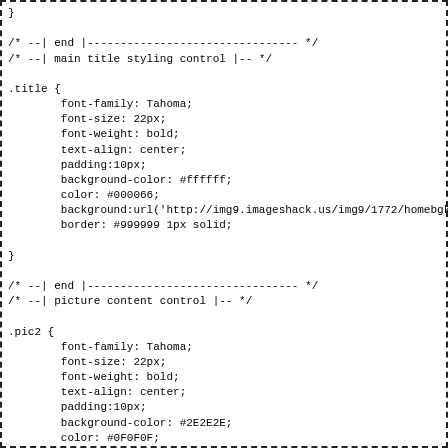}

/* --| end |-------------------------------- */
/* --| main title styling control |-- */

.title {
	font-family: Tahoma;
	font-size: 22px;
	font-weight: bold;
	text-align: center;
	padding:10px;
	background-color: #ffffff;
	color: #000066;
	background:url('http://img9.imageshack.us/img9/1772/homebgk.gi
	border: #999999 1px solid;

}

/* --| end |-------------------------------- */
/* --| picture content control |-- */

.pic2 {
	font-family: Tahoma;
	font-size: 22px;
	font-weight: bold;
	text-align: center;
	padding:10px;
	background-color: #2E2E2E;
	color: #0F0F0F;
	border: #999999 1px solid;
	background:url('http://img9.imageshack.us/img9/1772/homebgk.gi

}

/* --| end |-------------------------------- */
/* --| sub heading styling control |-- */